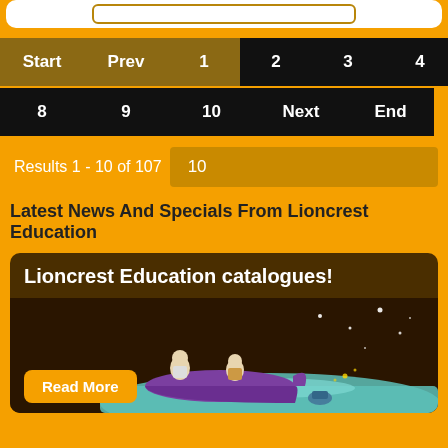[Figure (screenshot): White rounded box with a search input field outlined in golden/brown border]
[Figure (infographic): Pagination navigation bar with Start, Prev, 1 in brown background, and 2-10, Next, End in black background]
Results 1 - 10 of 107  10
Latest News And Specials From Lioncrest Education
[Figure (illustration): Dark brown card showing 'Lioncrest Education catalogues!' with an illustration of two characters in a purple boat on water at night with stars, and a Read More orange button]